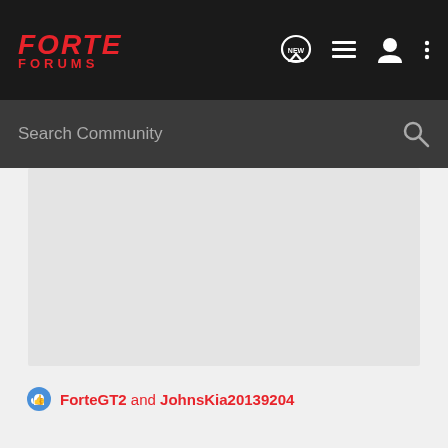FORTE FORUMS
Search Community
[Figure (screenshot): Large light gray content area, likely an embedded image or advertisement placeholder]
ForteGT2 and JohnsKia20139204